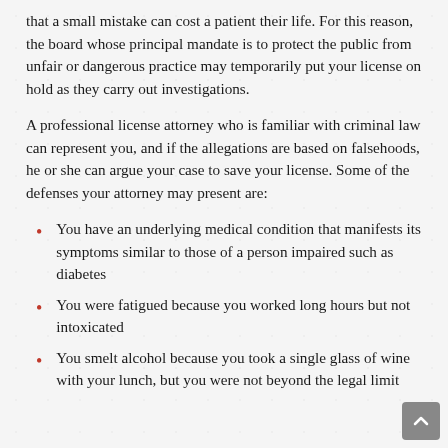that a small mistake can cost a patient their life. For this reason, the board whose principal mandate is to protect the public from unfair or dangerous practice may temporarily put your license on hold as they carry out investigations.
A professional license attorney who is familiar with criminal law can represent you, and if the allegations are based on falsehoods, he or she can argue your case to save your license. Some of the defenses your attorney may present are:
You have an underlying medical condition that manifests its symptoms similar to those of a person impaired such as diabetes
You were fatigued because you worked long hours but not intoxicated
You smelt alcohol because you took a single glass of wine with your lunch, but you were not beyond the legal limit